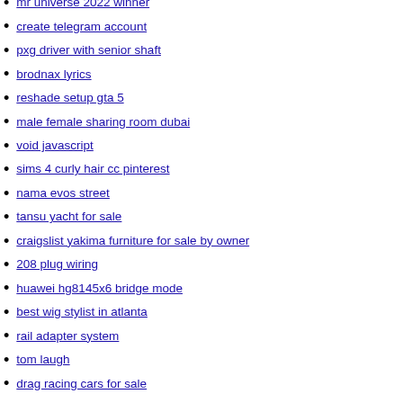mr universe 2022 winner
create telegram account
pxg driver with senior shaft
brodnax lyrics
reshade setup gta 5
male female sharing room dubai
void javascript
sims 4 curly hair cc pinterest
nama evos street
tansu yacht for sale
craigslist yakima furniture for sale by owner
208 plug wiring
huawei hg8145x6 bridge mode
best wig stylist in atlanta
rail adapter system
tom laugh
drag racing cars for sale
interactive true crime
jae dive studios
noaa decoder
4 and a half stars copy and paste
camfil hepa filter catalogue
fgo camelot paladin agateram review
calories in black bean burger with bun
bad surgery lawyers